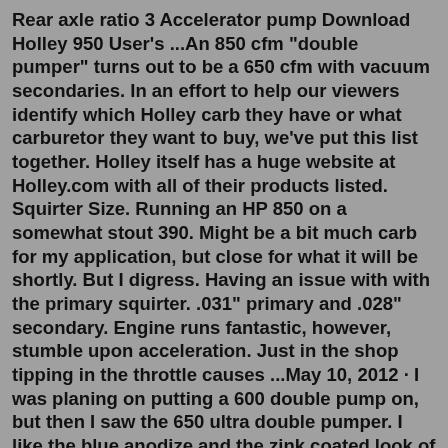Rear axle ratio 3 Accelerator pump Download Holley 950 User's ...An 850 cfm "double pumper" turns out to be a 650 cfm with vacuum secondaries. In an effort to help our viewers identify which Holley carb they have or what carburetor they want to buy, we've put this list together. Holley itself has a huge website at Holley.com with all of their products listed. Squirter Size. Running an HP 850 on a somewhat stout 390. Might be a bit much carb for my application, but close for what it will be shortly. But I digress. Having an issue with with the primary squirter. .031" primary and .028" secondary. Engine runs fantastic, however, stumble upon acceleration. Just in the shop tipping in the throttle causes ...May 10, 2012 · I was planing on putting a 600 double pump on, but then I saw the 650 ultra double pumper. I like the blue anodize and the zink coated look of the ultra carb. But I'm not sure if it would be to big of a carb? Car info 69 302ci 8.9 cr pistons aluminum ProStar heads with 54cc chambers crane cam .504in .520ex lift 110deg separation 0I short block SVO heads D302...